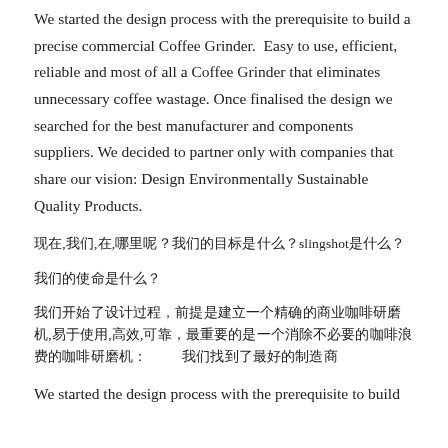We started the design process with the prerequisite to build a precise commercial Coffee Grinder.  Easy to use, efficient, reliable and most of all a Coffee Grinder that eliminates unnecessary coffee wastage. Once finalised the design we searched for the best manufacturer and components suppliers. We decided to partner only with companies that share our vision: Design Environmentally Sustainable Quality Products.
现在,我们,在,哪里呢？我们的目标是什么？slingshot是什么？
我们的使命是什么？
我们开始了设计过程，前提是建立一个精确的商业咖啡研磨机,易于使用,高效,可靠，最重要的是一个消除不必要的咖啡浪费的咖啡研磨机：          我们找到了最好的制造商
We started the design process with the prerequisite to build